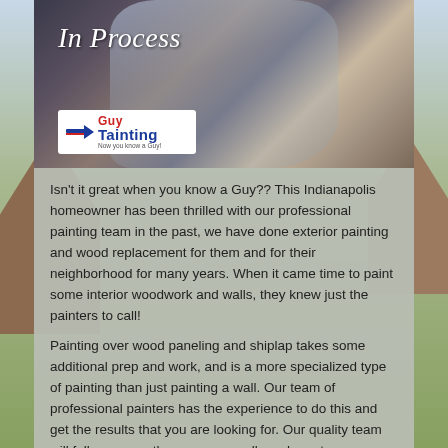[Figure (photo): Interior painting in progress photo showing a room draped with white plastic sheeting for protection, with the Guy Painting company logo overlaid in the lower-left corner and 'In Process' text in the upper-left]
Isn't it great when you know a Guy?? This Indianapolis homeowner has been thrilled with our professional painting team in the past, we have done exterior painting and wood replacement for them and for their neighborhood for many years. When it came time to paint some interior woodwork and walls, they knew just the painters to call!
Painting over wood paneling and shiplap takes some additional prep and work, and is a more specialized type of painting than just painting a wall. Our team of professional painters has the experience to do this and get the results that you are looking for. Our quality team will fully manage the process so all you have to